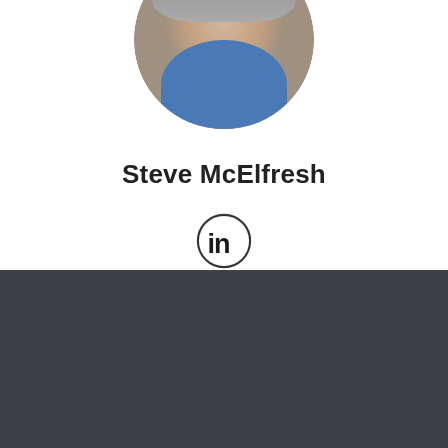[Figure (photo): Circular cropped professional headshot of Steve McElfresh, a middle-aged man with gray beard and hair, wearing a blue shirt and dark jacket]
Steve McElfresh
[Figure (logo): LinkedIn 'in' logo icon — circle outline with 'in' text inside]